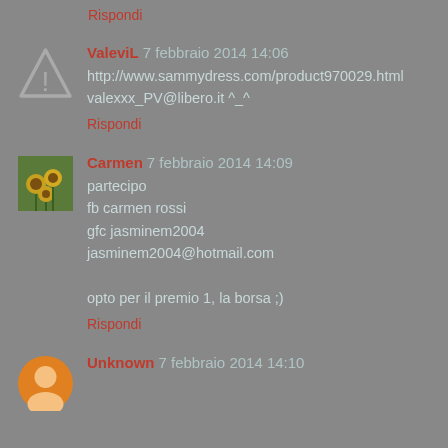Rispondi
ValeviL 7 febbraio 2014 14:06
http://www.sammydress.com/product970029.html
valexxx_PV@libero.it ^_^
Rispondi
Carmen 7 febbraio 2014 14:09
partecipo
fb carmen rossi
gfc jasminem2004
jasminem2004@hotmail.com
opto per il premio 1, la borsa ;)
Rispondi
Unknown 7 febbraio 2014 14:10